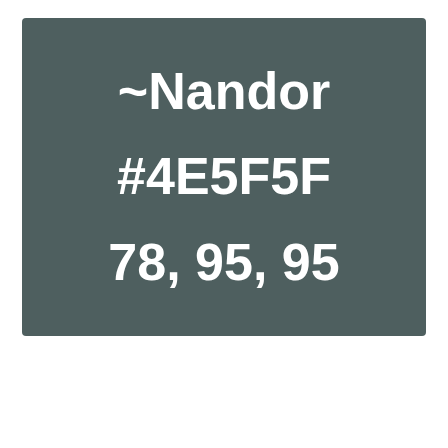[Figure (other): Color swatch block with dark teal-green background (#4E5F5F) displaying the color name '~Nandor', hex code '#4E5F5F', and RGB values '78, 95, 95' in white bold text]
~Nandor
#4E5F5F
78, 95, 95